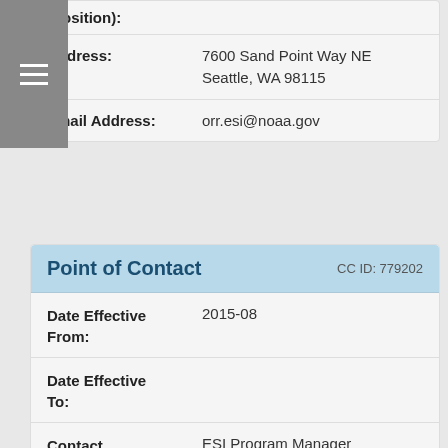(Position):
| Field | Value |
| --- | --- |
| Address: | 7600 Sand Point Way NE
Seattle, WA 98115 |
| Email Address: | orr.esi@noaa.gov |
Point of Contact   CC ID: 779202
| Field | Value |
| --- | --- |
| Date Effective From: | 2015-08 |
| Date Effective To: |  |
| Contact (Position): | ESI Program Manager |
| Address: | 7600 Sand Point Way NE
Seattle, WA 98115 |
| Email Address: |  |